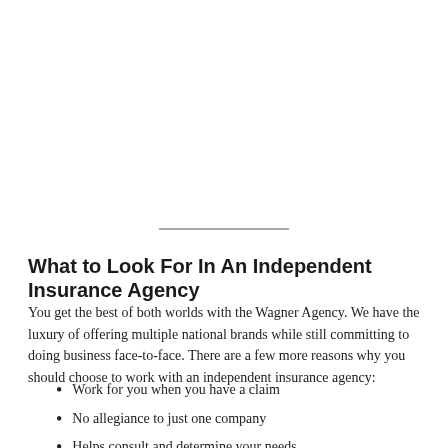What to Look For In An Independent Insurance Agency
You get the best of both worlds with the Wagner Agency. We have the luxury of offering multiple national brands while still committing to doing business face-to-face. There are a few more reasons why you should choose to work with an independent insurance agency:
Work for you when you have a claim
No allegiance to just one company
Helps consult and determine your needs
Finds you best combination of price, coverage, and service